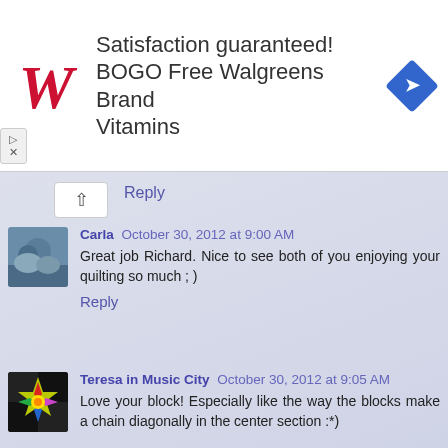[Figure (advertisement): Walgreens ad banner: red cursive W logo, text 'Satisfaction guaranteed! BOGO Free Walgreens Brand Vitamins', blue diamond arrow icon]
Reply
Carla  October 30, 2012 at 9:00 AM
Great job Richard. Nice to see both of you enjoying your quilting so much ; )
Reply
Teresa in Music City  October 30, 2012 at 9:05 AM
Love your block! Especially like the way the blocks make a chain diagonally in the center section :*)

My favorite fall activity is to visit with my family at Thanksgiving. We live far apart so it is the one time a year when we all get together. Thanks for the great giveaway!